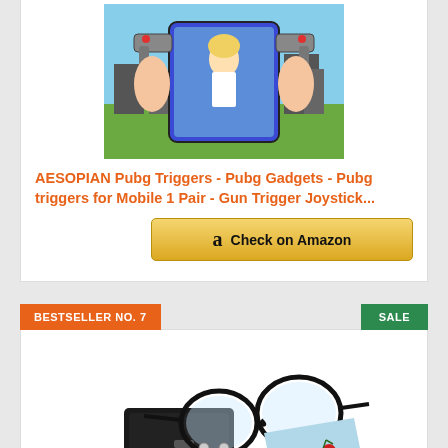[Figure (photo): Product photo of AESOPIAN PUBG mobile gaming triggers/joysticks attached to a smartphone, held by hands, showing anime character gameplay]
AESOPIAN Pubg Triggers - Pubg Gadgets - Pubg triggers for Mobile 1 Pair - Gun Trigger Joystick...
[Figure (other): Check on Amazon button with Amazon logo]
BESTSELLER NO. 7
SALE
[Figure (photo): Product photo of KUASONS reading glasses with black round frames, glasses case, and branded microfiber cloth]